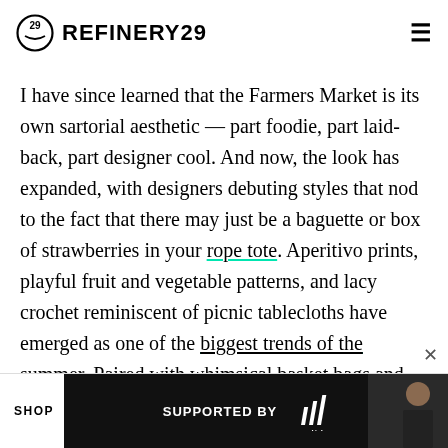REFINERY29
I have since learned that the Farmers Market is its own sartorial aesthetic — part foodie, part laid-back, part designer cool. And now, the look has expanded, with designers debuting styles that nod to the fact that there may just be a baguette or box of strawberries in your rope tote. Aperitivo prints, playful fruit and vegetable patterns, and lacy crochet reminiscent of picnic tablecloths have emerged as one of the biggest trends of the summer. Paired with whimsical basket bags and comfy-cute flats, the aesthetic makes errand-running look unexpectedly glamorous.
[Figure (other): Advertisement banner: SUPPORTED BY adidas, with a dark background and a person on the right side]